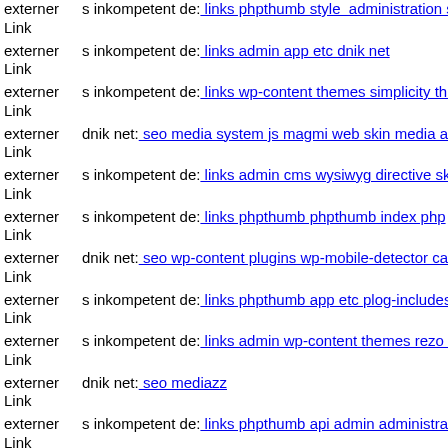externer Link s inkompetent de: links phpthumb style  administration s inkompetent de
externer Link s inkompetent de: links admin app etc dnik net
externer Link s inkompetent de: links wp-content themes simplicity thumb
externer Link dnik net: seo media system js magmi web skin media admin
externer Link s inkompetent de: links admin cms wysiwyg directive skin
externer Link s inkompetent de: links phpthumb phpthumb index php
externer Link dnik net: seo wp-content plugins wp-mobile-detector cache
externer Link s inkompetent de: links phpthumb app etc plog-includes lib
externer Link s inkompetent de: links admin wp-content themes rezo dnik
externer Link dnik net: seo mediazz
externer Link s inkompetent de: links phpthumb api admin administrator e
externer Link s inkompetent de: links admin izoc php